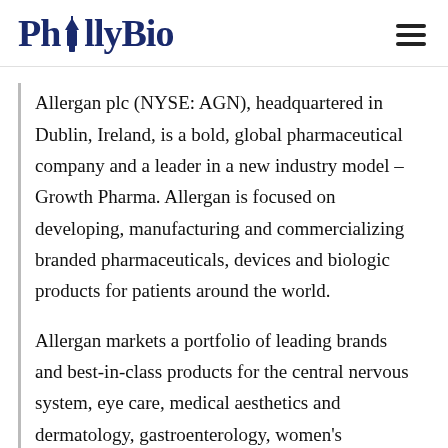PhillyBio
Allergan plc (NYSE: AGN), headquartered in Dublin, Ireland, is a bold, global pharmaceutical company and a leader in a new industry model – Growth Pharma. Allergan is focused on developing, manufacturing and commercializing branded pharmaceuticals, devices and biologic products for patients around the world.
Allergan markets a portfolio of leading brands and best-in-class products for the central nervous system, eye care, medical aesthetics and dermatology, gastroenterology, women's